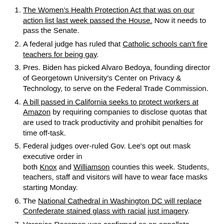The Women's Health Protection Act that was on our action list last week passed the House. Now it needs to pass the Senate.
A federal judge has ruled that Catholic schools can't fire teachers for being gay.
Pres. Biden has picked Alvaro Bedoya, founding director of Georgetown University's Center on Privacy & Technology, to serve on the Federal Trade Commission.
A bill passed in California seeks to protect workers at Amazon by requiring companies to disclose quotas that are used to track productivity and prohibit penalties for time off-task.
Federal judges over-ruled Gov. Lee's opt out mask executive order in both Knox and Williamson counties this week. Students, teachers, staff and visitors will have to wear face masks starting Monday.
The National Cathedral in Washington DC will replace Confederate stained glass with racial just imagery.
Veronica Rossman was confirmed as an appellate